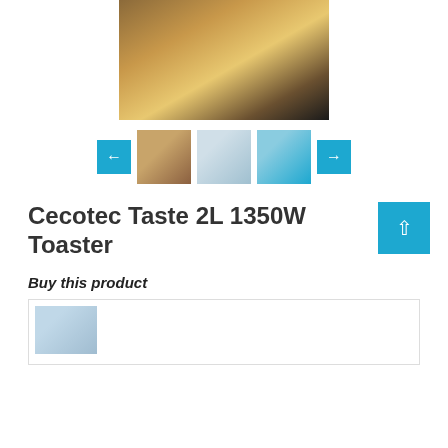[Figure (photo): Main product photo of Cecotec Taste 2L 1350W Toaster showing toasted sandwiches on a plate with the white toaster in the background]
[Figure (photo): Thumbnail 1: Toaster with toast on plate, breakfast setting]
[Figure (photo): Thumbnail 2: Close-up of toaster controls]
[Figure (photo): Thumbnail 3: Hand adjusting toaster dial]
Cecotec Taste 2L 1350W Toaster
Buy this product
[Figure (photo): Small thumbnail of toaster product in buy box]